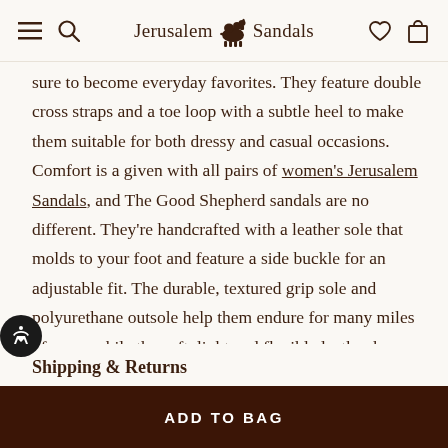Jerusalem Sandals
sure to become everyday favorites. They feature double cross straps and a toe loop with a subtle heel to make them suitable for both dressy and casual occasions. Comfort is a given with all pairs of women's Jerusalem Sandals, and The Good Shepherd sandals are no different. They're handcrafted with a leather sole that molds to your foot and feature a side buckle for an adjustable fit. The durable, textured grip sole and polyurethane outsole help them endure for many miles of wear, while the soft, light and flexible leather keeps them easy to wear.
Shipping & Returns